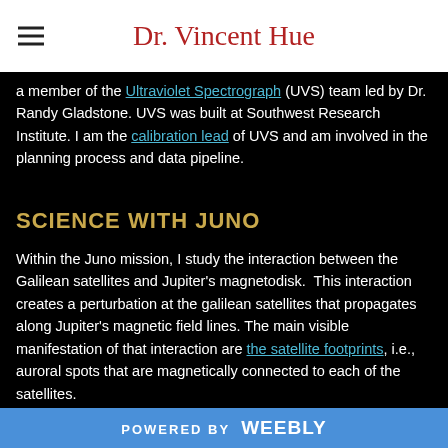Dr. Vincent Hue
a member of the Ultraviolet Spectrograph (UVS) team led by Dr. Randy Gladstone. UVS was built at Southwest Research Institute. I am the calibration lead of UVS and am involved in the planning process and data pipeline.
SCIENCE WITH JUNO
Within the Juno mission, I study the interaction between the Galilean satellites and Jupiter's magnetodisk. This interaction creates a perturbation at the galilean satellites that propagates along Jupiter's magnetic field lines. The main visible manifestation of that interaction are the satellite footprints, i.e., auroral spots that are magnetically connected to each of the satellites.
POWERED BY Weebly